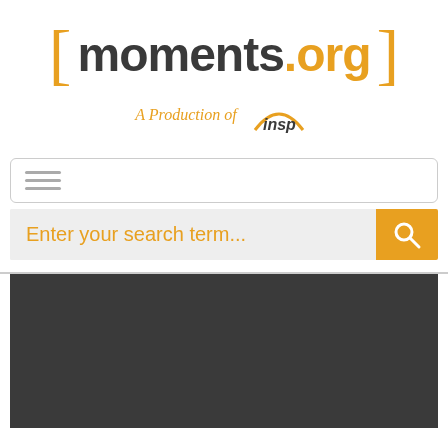[Figure (logo): moments.org logo with orange brackets and 'A Production of insp' tagline]
[Figure (screenshot): Navigation hamburger menu bar]
[Figure (screenshot): Search bar with placeholder text 'Enter your search term...' and orange search button]
[Figure (photo): Dark gray/charcoal content area below the search bar divider]